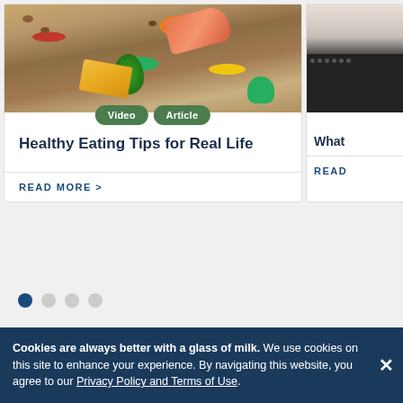[Figure (photo): Overhead photo of healthy foods including salmon, avocado, cheese, nuts, berries, broccoli, and other ingredients on a wooden surface]
Video  Article
Healthy Eating Tips for Real Life
READ MORE >
[Figure (photo): Partial photo of a dark kitchen stove/range against a light background]
What
READ
Cookies are always better with a glass of milk. We use cookies on this site to enhance your experience. By navigating this website, you agree to our Privacy Policy and Terms of Use.